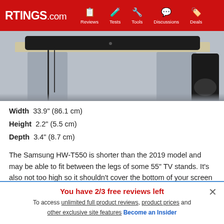RTINGS.com — Reviews | Tests | Tools | Discussions | Deals
[Figure (photo): Photo of Samsung HW-T550 soundbar on a stand/shelf, showing front profile with two stands and a subwoofer visible]
Width  33.9" (86.1 cm)
Height  2.2" (5.5 cm)
Depth  3.4" (8.7 cm)
The Samsung HW-T550 is shorter than the 2019 model and may be able to fit between the legs of some 55" TV stands. It's also not too high so it shouldn't cover the bottom of your screen unless your TV sits flush on the table.
You have 2/3 free reviews left
To access unlimited full product reviews, product prices and other exclusive site features Become an Insider